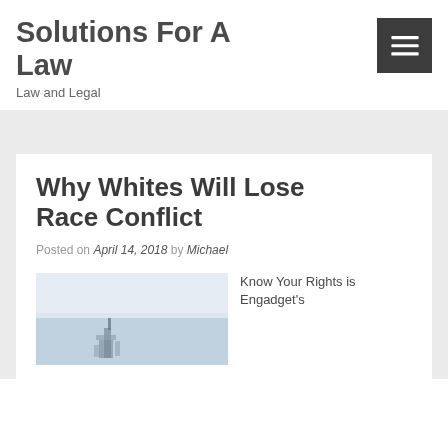Solutions For A Law
Law and Legal
Why Whites Will Lose Race Conflict
Posted on April 14, 2018 by Michael
[Figure (photo): Partial image of a building or structure against a light sky, partially visible at bottom-left of article card]
Know Your Rights is Engadget's